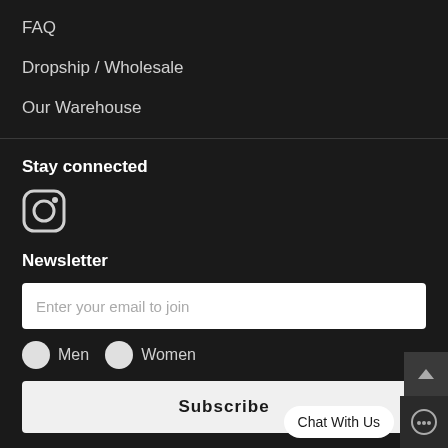FAQ
Dropship / Wholesale
Our Warehouse
Stay connected
[Figure (logo): Instagram icon - rounded square with circle inside and small circle, white outline on dark background]
Newsletter
Enter your email to join
Men   Women
Subscribe